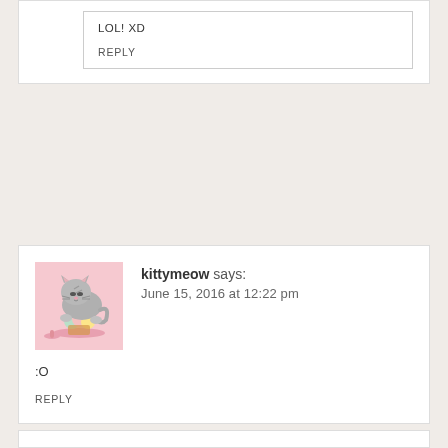LOL! XD
REPLY
kittymeow says:
June 15, 2016 at 12:22 pm
[Figure (illustration): Pusheen cat avatar holding ice cream on a pink background]
:O
REPLY